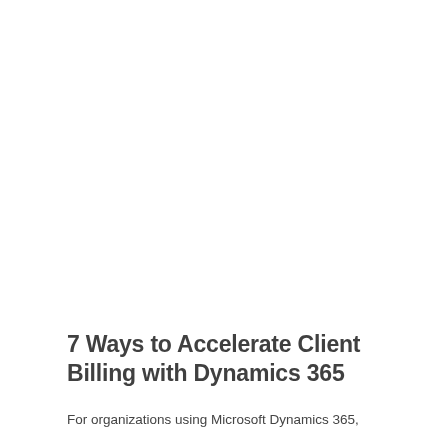7 Ways to Accelerate Client Billing with Dynamics 365
For organizations using Microsoft Dynamics 365,